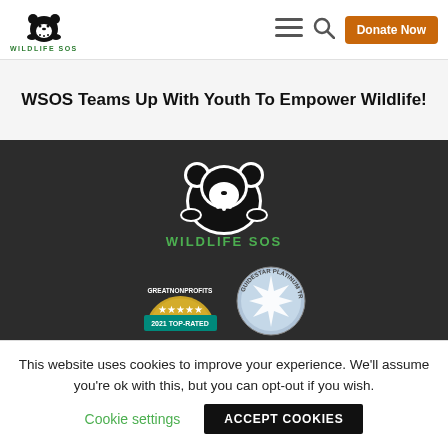[Figure (logo): Wildlife SOS bear logo with green text WILDLIFE SOS]
[Figure (illustration): Hamburger menu icon and search icon in navigation bar]
[Figure (other): Orange Donate Now button]
WSOS Teams Up With Youth To Empower Wildlife!
[Figure (logo): Wildlife SOS large bear logo on dark background]
[Figure (other): GreatNonprofits 2021 Top-Rated badge and GuideStar Platinum Transparency badge]
This website uses cookies to improve your experience. We'll assume you're ok with this, but you can opt-out if you wish.
Cookie settings
ACCEPT COOKIES